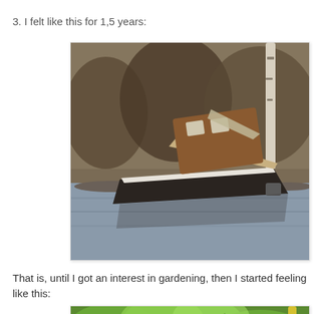3. I felt like this for 1,5 years:
[Figure (photo): A wooden boat sinking sideways in water near a rocky shore, with dark hull and wooden superstructure tilted at an angle, background of brown scrubby hillside vegetation and a pale tree trunk]
That is, until I got an interest in gardening, then I started feeling like this:
[Figure (photo): Close-up of bright green plant foliage, leaves in soft focus with a yellow stem visible on the right]